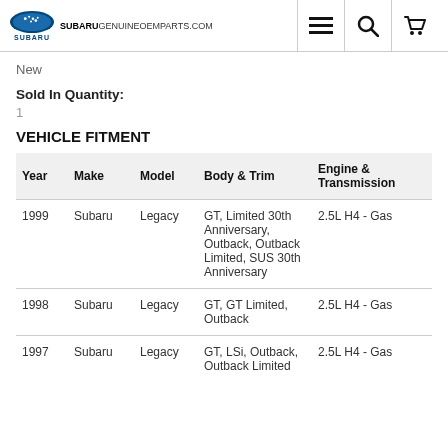SUBARUGENUINEOEMPARTS.COM
New
Sold In Quantity:
1
VEHICLE FITMENT
| Year | Make | Model | Body & Trim | Engine & Transmission |
| --- | --- | --- | --- | --- |
| 1999 | Subaru | Legacy | GT, Limited 30th Anniversary, Outback, Outback Limited, SUS 30th Anniversary | 2.5L H4 - Gas |
| 1998 | Subaru | Legacy | GT, GT Limited, Outback | 2.5L H4 - Gas |
| 1997 | Subaru | Legacy | GT, LSi, Outback, Outback Limited | 2.5L H4 - Gas |